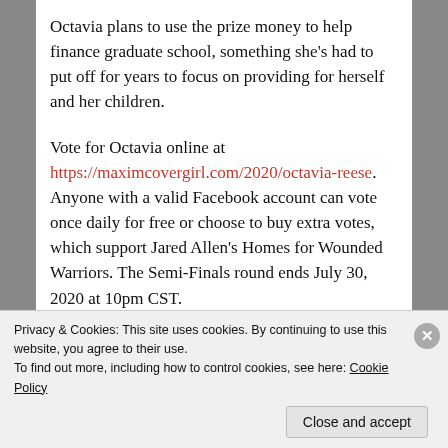Octavia plans to use the prize money to help finance graduate school, something she’s had to put off for years to focus on providing for herself and her children.
Vote for Octavia online at https://maximcovergirl.com/2020/octavia-reese. Anyone with a valid Facebook account can vote once daily for free or choose to buy extra votes, which support Jared Allen’s Homes for Wounded Warriors. The Semi-Finals round ends July 30, 2020 at 10pm CST.
Privacy & Cookies: This site uses cookies. By continuing to use this website, you agree to their use.
To find out more, including how to control cookies, see here: Cookie Policy
Close and accept